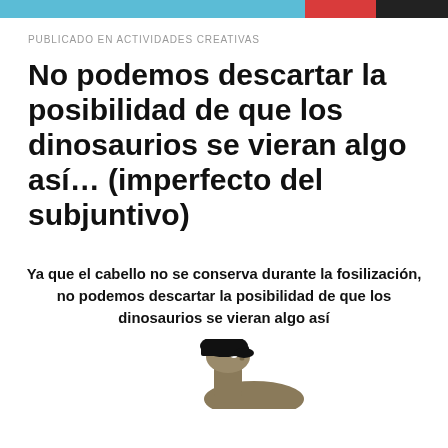PUBLICADO EN ACTIVIDADES CREATIVAS
No podemos descartar la posibilidad de que los dinosaurios se vieran algo así... (imperfecto del subjuntivo)
Ya que el cabello no se conserva durante la fosilización, no podemos descartar la posibilidad de que los dinosaurios se vieran algo así
[Figure (illustration): Partial image of a dinosaur (sauropod-like) with what appears to be a black bowl-cut hairstyle, shown from a low angle against a white background.]